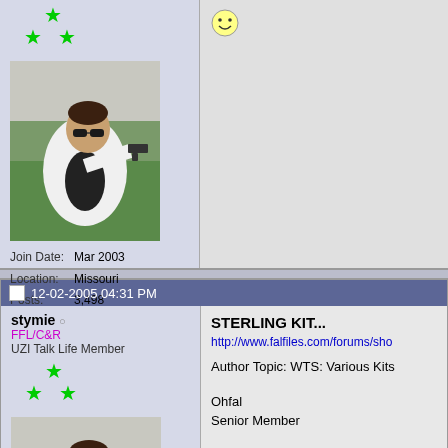[Figure (photo): Forum avatar: man in white jacket pointing gun, with green star rating icons above]
Join Date: Mar 2003
Location: Missouri
Posts: 3,498
[Figure (other): Smiley face emoticon]
12-02-2005 04:31 PM
stymie
FFL/C&R
UZI Talk Life Member
[Figure (photo): Forum avatar: man in white jacket pointing gun, with green star rating icons above]
STERLING KIT...
http://www.falfiles.com/forums/sho
Author Topic: WTS: Various Kits
Ohfal
Senior Member

FALaholic # 2483